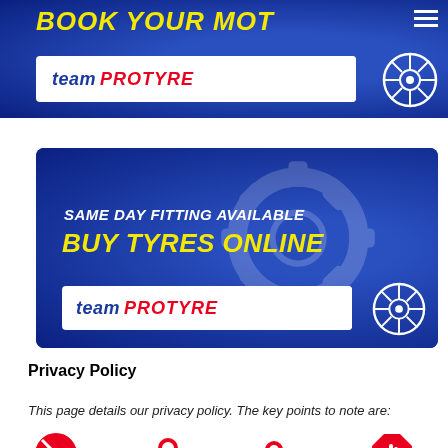[Figure (screenshot): Team Protyre 'Book Your MOT' promotional banner with blue background, yellow italic bold text 'BOOK YOUR MOT', white logo bar with 'team PROTYRE' and wheel icon, hamburger menu icon top right]
[Figure (screenshot): Team Protyre 'Buy Tyres Online' promotional banner with blue background, white text 'SAME DAY FITTING AVAILABLE', yellow bold text 'BUY TYRES ONLINE', white logo bar with 'team PROTYRE' and wheel icon]
Privacy Policy
This page details our privacy policy. The key points to note are:
[Figure (infographic): Row of four red icons representing privacy policy key points: no data selling (crossed shopping cart), data security (padlock), data access (key), stop processing (hand stop sign), with partial captions below each]